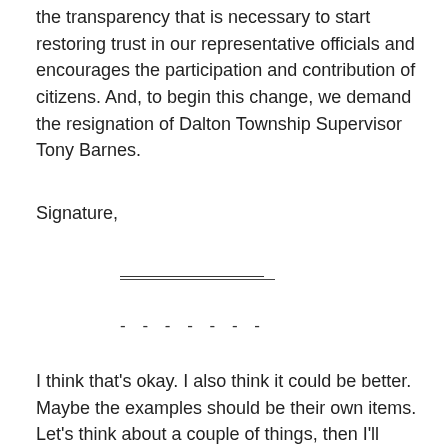the transparency that is necessary to start restoring trust in our representative officials and encourages the participation and contribution of citizens. And, to begin this change, we demand the resignation of Dalton Township Supervisor Tony Barnes.
Signature,
_______________
- - - - - - -
I think that's okay. I also think it could be better. Maybe the examples should be their own items. Let's think about a couple of things, then I'll come back to that.
Here's a quote from Fox 17 News:
- - - - - - -